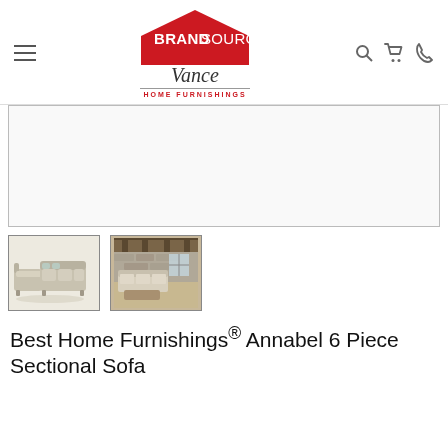BrandSource Vance Home Furnishings — navigation bar with hamburger menu, logo, search, cart, and phone icons
[Figure (photo): Main product image area — large white/empty display box for sectional sofa product photo]
[Figure (photo): Thumbnail 1: sectional sofa product on white background, beige/cream upholstery, L-shape configuration]
[Figure (photo): Thumbnail 2: sectional sofa in staged living room with rustic wood ceiling beams, stone wall, warm lighting]
Best Home Furnishings® Annabel 6 Piece Sectional Sofa